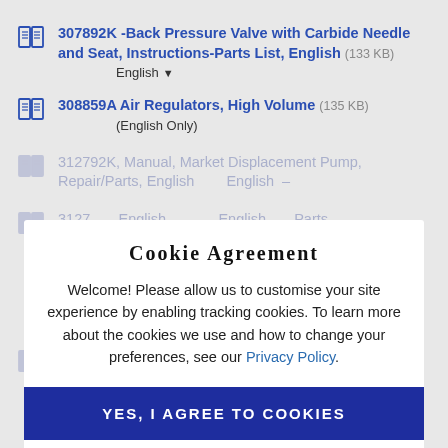307892K -Back Pressure Valve with Carbide Needle and Seat, Instructions-Parts List, English (133 KB)
English
308859A Air Regulators, High Volume (135 KB)
(English Only)
312792K, Manual, Market Displacement Pump, Repair/Parts, English   English -
312792K... English - Parts
Cookie Agreement
Welcome! Please allow us to customise your site experience by enabling tracking cookies. To learn more about the cookies we use and how to change your preferences, see our Privacy Policy.
YES, I AGREE TO COOKIES
NO, I DISAGREE TO COOKIES